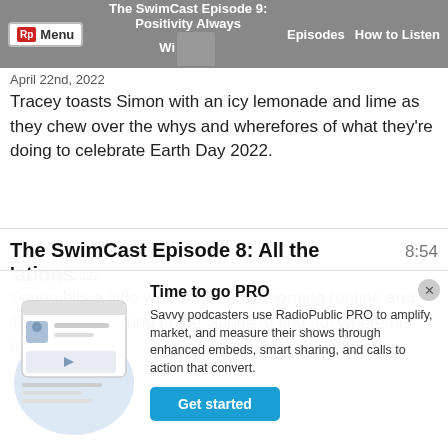The SwimCast Episode 9: Positivity Always Wins | Menu | Episodes | How to Listen
April 22nd, 2022
Tracey toasts Simon with an icy lemonade and lime as they chew over the whys and wherefores of what they're doing to celebrate Earth Day 2022.
The SwimCast Episode 8: All the 'ations
8:54
April 21st, 2022
Simon hits a little wall in his early morning routine and Tracey digs around in the 'ations to find out where his mojo is hiding.
Time to go PRO
Savvy podcasters use RadioPublic PRO to amplify, market, and measure their shows through enhanced embeds, smart sharing, and calls to action that convert.